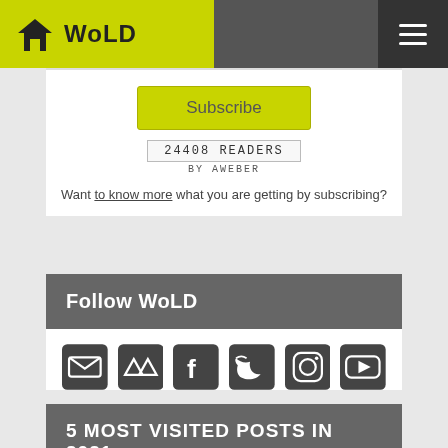WoLD
[Figure (other): Subscribe button (yellow/green)]
24408 READERS
BY AWEBER
Want to know more what you are getting by subscribing?
Follow WoLD
[Figure (other): Social media icons row: email, ArtStation, Facebook, Twitter, Instagram, YouTube]
5 MOST VISITED POSTS IN 2021